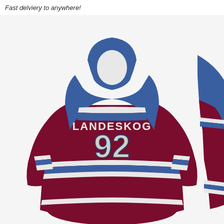Fast delviery to anywhere!
[Figure (photo): Hockey hoodie sweatshirt with back showing name LANDESKOG and number 92, in burgundy/maroon color with blue shoulders and white stripes. A second partial view of the front of the hoodie is visible on the right edge.]